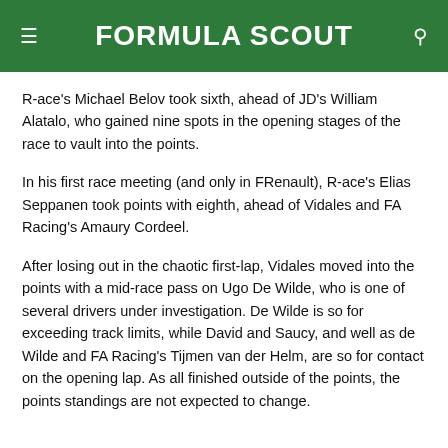FORMULA SCOUT
R-ace's Michael Belov took sixth, ahead of JD's William Alatalo, who gained nine spots in the opening stages of the race to vault into the points.
In his first race meeting (and only in FRenault), R-ace's Elias Seppanen took points with eighth, ahead of Vidales and FA Racing's Amaury Cordeel.
After losing out in the chaotic first-lap, Vidales moved into the points with a mid-race pass on Ugo De Wilde, who is one of several drivers under investigation. De Wilde is so for exceeding track limits, while David and Saucy, and well as de Wilde and FA Racing's Tijmen van der Helm, are so for contact on the opening lap. As all finished outside of the points, the points standings are not expected to change.